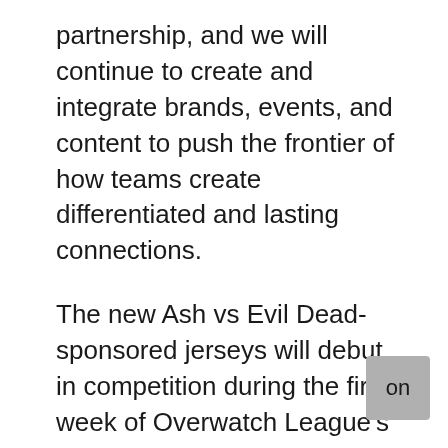partnership, and we will continue to create and integrate brands, events, and content to push the frontier of how teams create differentiated and lasting connections.
The new Ash vs Evil Dead-sponsored jerseys will debut in competition during the first week of Overwatch League's Stage 2, when the LA Valiant play the Shanghai Dragons at 5:00 PM PST on Saturday, February 24, 2018. Broadcast details can be found on The Overwatch League website, www.overwatchleague.com, and on Twitch at Twitchtv/overwatchleague.